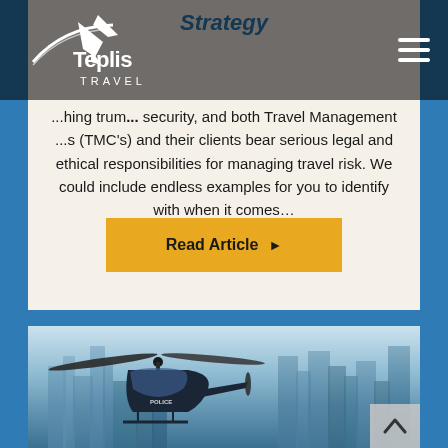Teplis Travel logo and navigation
Strategy
...hing trum... security, and both Travel Management ...s (TMC's) and their clients bear serious legal and ethical responsibilities for managing travel risk. We could include endless examples for you to identify with when it comes...
Read Article ▶
[Figure (photo): Helicopter flying over a city skyline with buildings in the background, hazy blue atmosphere]